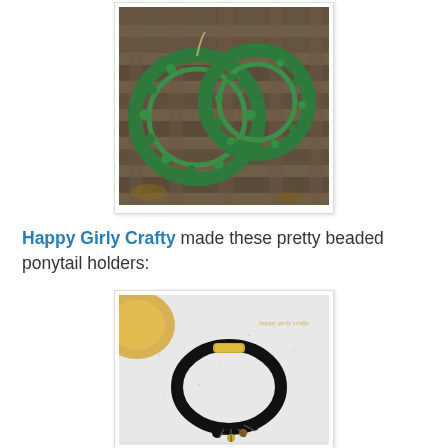[Figure (photo): Photo of two green crocheted hoop earrings resting on a rusty metal grate surface, photographed outdoors.]
Happy Girly Crafty made these pretty beaded ponytail holders:
[Figure (photo): Photo of a black beaded ponytail holder with gold accents and small decorative beads, displayed on a light textured surface with a yellow/gold decorative plate partial visible in the upper left. Watermark text reads 'happy girly crafty'.]